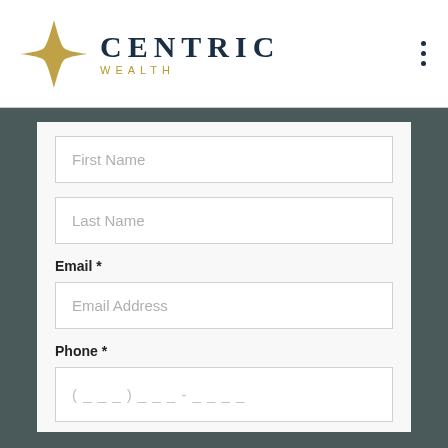[Figure (logo): Centric Wealth logo with gold four-pointed star and dark navy text reading CENTRIC with WEALTH below in gold tracking]
First Name
Last Name
Email *
Email Address
Phone *
(__  __) __  __  __  -  __  __  __  __